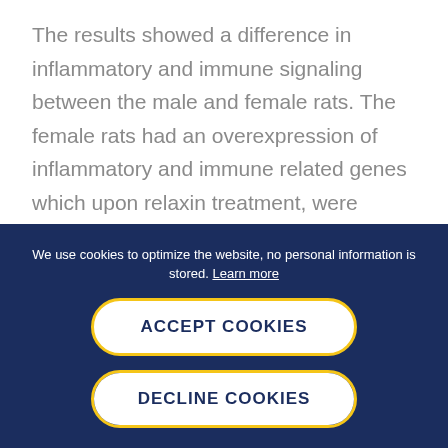The results showed a difference in inflammatory and immune signaling between the male and female rats. The female rats had an overexpression of inflammatory and immune related genes which upon relaxin treatment, were suppressed. Though male rats did not show activation of inflammatory or
We use cookies to optimize the website, no personal information is stored. Learn more
ACCEPT COOKIES
DECLINE COOKIES